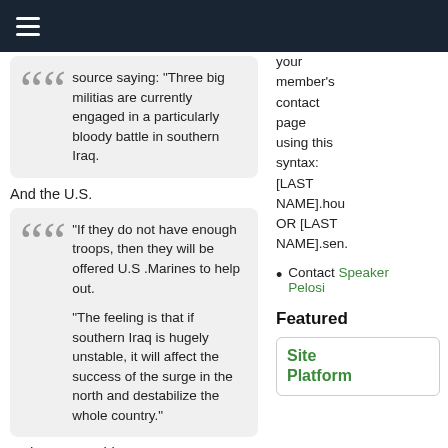≡ (navigation menu)
source saying: "Three big militias are currently engaged in a particularly bloody battle in southern Iraq.
And the U.S.
"If they do not have enough troops, then they will be offered U.S .Marines to help out.

"The feeling is that if southern Iraq is hugely unstable, it will affect the success of the surge in the north and destabilize the whole country."
Today we get this:
Heavy fighting in southern Iraqi oil hub
your member's contact page using this syntax: [LAST NAME].hou OR [LAST NAME].sen.
Contact Speaker Pelosi
Featured
Site Platform